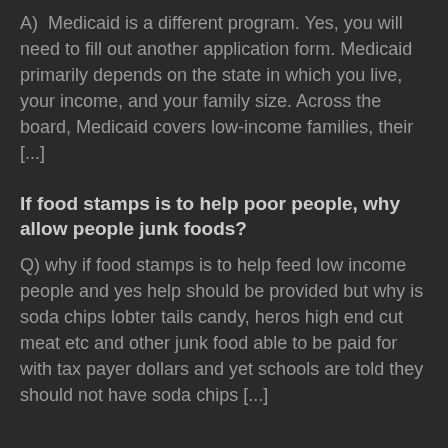A)  Medicaid is a different program. Yes, you will need to fill out another application form. Medicaid primarily depends on the state in which you live, your income, and your family size. Across the board, Medicaid covers low-income families, their [...]
If food stamps is to help poor people, why allow people junk foods?
Q) why if food stamps is to help feed low income people and yes help should be provided but why is soda chips lobter tails candy, heros high end cut meat etc and other junk food able to be paid for with tax payer dollars and yet schools are told they should not have soda chips [...]